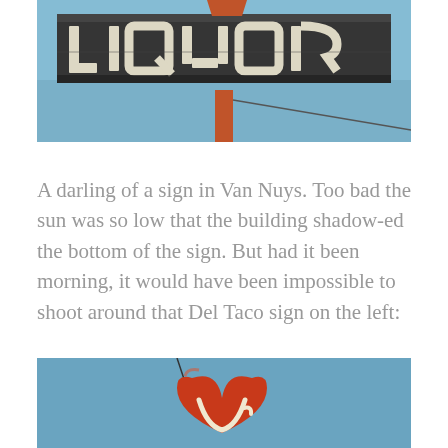[Figure (photo): Close-up photograph of a vintage neon LIQUOR sign mounted on a pole against a blue sky. The sign has large blocky weathered letters with neon tubing, dark aged metal frame, an orange/red pole support, and a partial orange flag or shape at the top.]
A darling of a sign in Van Nuys.  Too bad the sun was so low that the building shadow-ed the bottom of the sign.  But had it been morning, it would have been impossible to shoot around that Del Taco sign on the left:
[Figure (photo): Partial photograph of a vintage Del Taco sign. Shows a large red heart-shaped sign element with white cursive lettering against a blue sky. A dark wire or cable is visible in the upper left.]